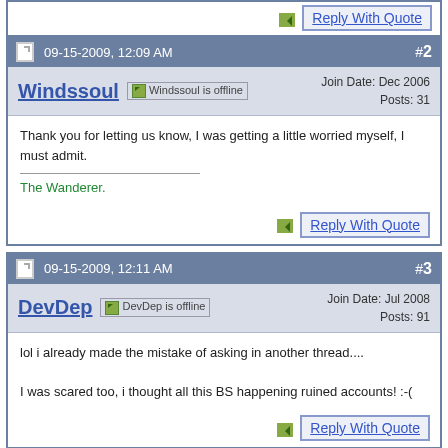Reply With Quote
09-15-2009, 12:09 AM  #2
Windssoul  Windssoul is offline  Join Date: Dec 2006  Posts: 31
Thank you for letting us know, I was getting a little worried myself, I must admit.
The Wanderer.
Reply With Quote
09-15-2009, 12:11 AM  #3
DevDep  DevDep is offline  Join Date: Jul 2008  Posts: 91
lol i already made the mistake of asking in another thread....

I was scared too, i thought all this BS happening ruined accounts! :-(
Reply With Quote
09-15-2009, 12:18 AM  #4
Windssoul  Windssoul is offline  Join Date: Dec 2006  Posts: 31